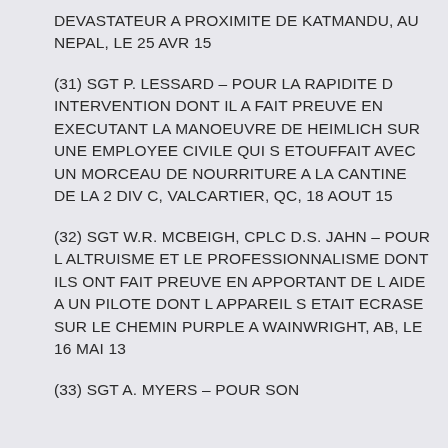DEVASTATEUR A PROXIMITE DE KATMANDU, AU NEPAL, LE 25 AVR 15
(31) SGT P. LESSARD – POUR LA RAPIDITE D INTERVENTION DONT IL A FAIT PREUVE EN EXECUTANT LA MANOEUVRE DE HEIMLICH SUR UNE EMPLOYEE CIVILE QUI S ETOUFFAIT AVEC UN MORCEAU DE NOURRITURE A LA CANTINE DE LA 2 DIV C, VALCARTIER, QC, 18 AOUT 15
(32) SGT W.R. MCBEIGH, CPLC D.S. JAHN – POUR L ALTRUISME ET LE PROFESSIONNALISME DONT ILS ONT FAIT PREUVE EN APPORTANT DE L AIDE A UN PILOTE DONT L APPAREIL S ETAIT ECRASE SUR LE CHEMIN PURPLE A WAINWRIGHT, AB, LE 16 MAI 13
(33) SGT A. MYERS – POUR SON